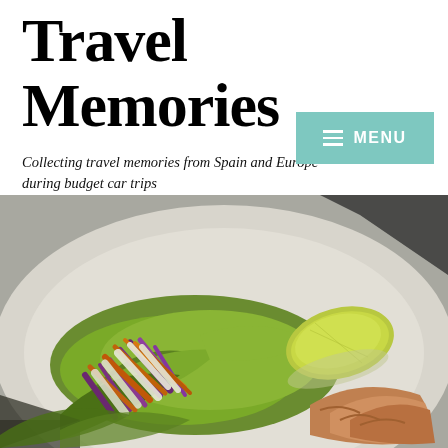Travel Memories
Collecting travel memories from Spain and Europe during budget car trips
[Figure (other): Menu button with hamburger icon on teal/mint green background, white text reading MENU]
[Figure (photo): Close-up food photograph of a salad plate with shredded vegetables (purple cabbage, carrots, lettuce, white radish/jicama strips), a lemon wedge, and what appears to be grilled shrimp, on a white plate with a light-colored tablecloth background]